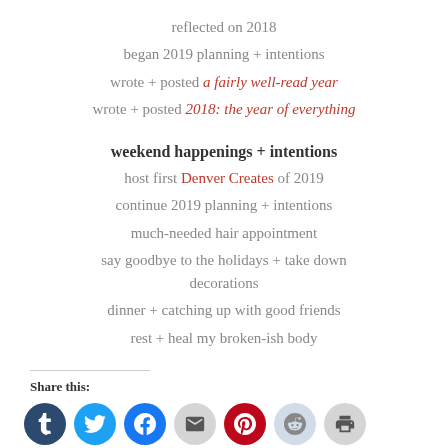reflected on 2018
began 2019 planning + intentions
wrote + posted a fairly well-read year
wrote + posted 2018: the year of everything
weekend happenings + intentions
host first Denver Creates of 2019
continue 2019 planning + intentions
much-needed hair appointment
say goodbye to the holidays + take down decorations
dinner + catching up with good friends
rest + heal my broken-ish body
Share this: